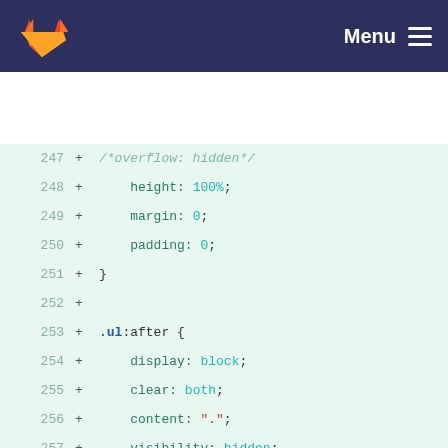GitLab — Menu
[Figure (screenshot): GitLab code diff view showing CSS code lines 247–266 with additions (+ markers) on a light green background]